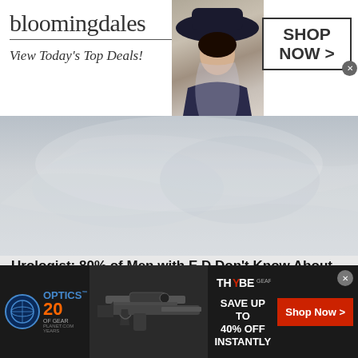[Figure (screenshot): Bloomingdales advertisement banner: logo with 'bloomingdales', tagline 'View Today's Top Deals!', woman model in hat, 'SHOP NOW >' button in box]
[Figure (photo): Blurred/faded background photo, possibly fabric or smoke, light gray tones]
Urologist: 80% of Men with E.D Don't Know About This Easy Fix (Try Tonight)
[Figure (photo): Close-up photo of a hand holding an open rambutan fruit showing red spiky exterior and white inner flesh]
[Figure (screenshot): OpticsPlanet 20 Years of Gear advertisement with rifle image, Thybe logo, 'SAVE UP TO 40% OFF INSTANTLY' text, and red 'Shop Now >' button]